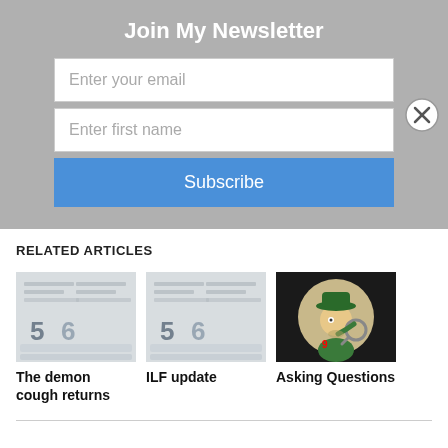Join My Newsletter
Enter your email
Enter first name
Subscribe
RELATED ARTICLES
[Figure (photo): Document/form close-up image thumbnail for 'The demon cough returns' article]
The demon cough returns
[Figure (photo): Document/form close-up image thumbnail for 'ILF update' article]
ILF update
[Figure (illustration): Cartoon detective character with magnifying glass for 'Asking Questions' article]
Asking Questions